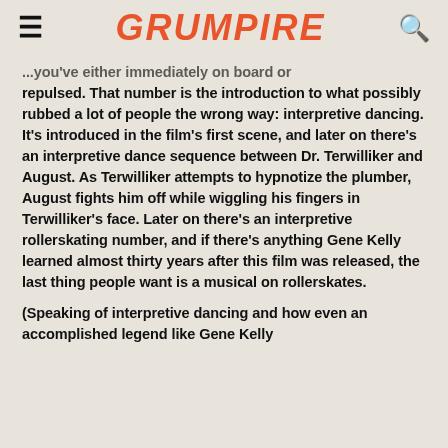≡  GRUMPIRE  🔍
...you've either immediately on board or repulsed. That number is the introduction to what possibly rubbed a lot of people the wrong way: interpretive dancing. It's introduced in the film's first scene, and later on there's an interpretive dance sequence between Dr. Terwilliker and August. As Terwilliker attempts to hypnotize the plumber, August fights him off while wiggling his fingers in Terwilliker's face. Later on there's an interpretive rollerskating number, and if there's anything Gene Kelly learned almost thirty years after this film was released, the last thing people want is a musical on rollerskates.
(Speaking of interpretive dancing and how even an accomplished legend like Gene Kelly